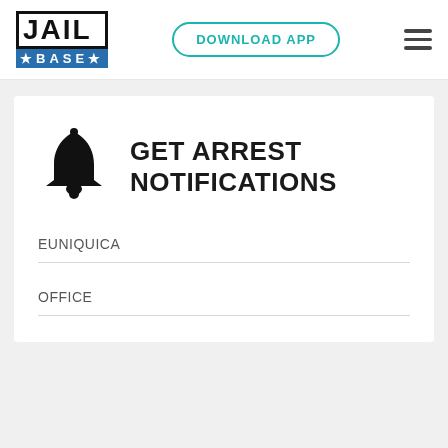[Figure (logo): JailBase logo with JAIL in black bordered box and BASE in blue strip below]
DOWNLOAD APP
[Figure (other): Hamburger menu icon (three horizontal lines)]
GET ARREST NOTIFICATIONS
EUNIQUICA
OFFICE